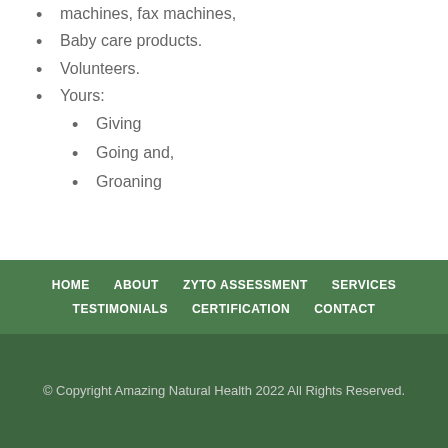machines, fax machines,
Baby care products.
Volunteers.
Yours:
Giving
Going and,
Groaning
HOME   ABOUT   ZYTO ASSESSMENT   SERVICES   TESTIMONIALS   CERTIFICATION   CONTACT
© Copyright Amazing Natural Health 2022 All Rights Reserved.